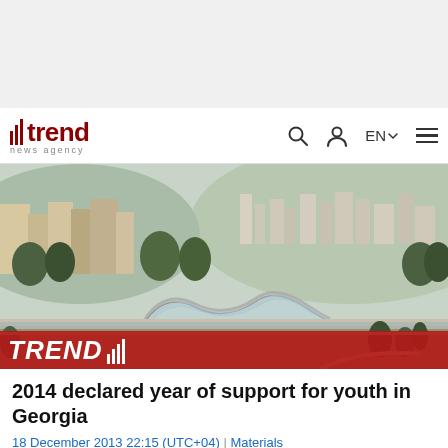trend news agency — EN
[Figure (photo): Aerial/elevated view of Tbilisi, Georgia cityscape showing the Peace Bridge (Bridge of Peace) over the Mtkvari River with hilly urban landscape in background. TREND news agency watermark at bottom.]
2014 declared year of support for youth in Georgia
18 December 2013 22:15 (UTC+04)  |  Materials